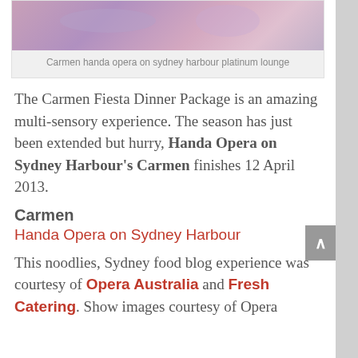[Figure (photo): Photo strip showing Carmen Handa Opera on Sydney Harbour platinum lounge dining scene]
Carmen handa opera on sydney harbour platinum lounge
The Carmen Fiesta Dinner Package is an amazing multi-sensory experience. The season has just been extended but hurry, Handa Opera on Sydney Harbour's Carmen finishes 12 April 2013.
Carmen
Handa Opera on Sydney Harbour
This noodlies, Sydney food blog experience was courtesy of Opera Australia and Fresh Catering. Show images courtesy of Opera